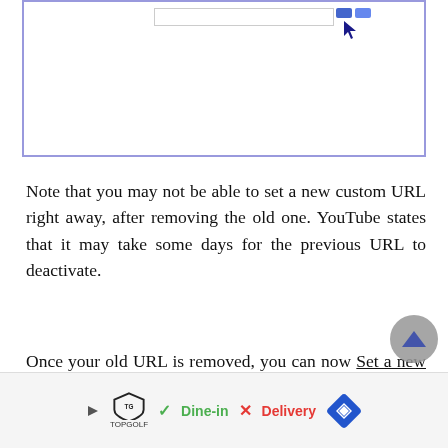[Figure (screenshot): A browser dialog box with an address/input bar and a mouse cursor icon pointing at small buttons, with a blue-bordered white frame and a blue tab at top-left corner.]
Note that you may not be able to set a new custom URL right away, after removing the old one. YouTube states that it may take some days for the previous URL to deactivate.
Once your old URL is removed, you can now Set a new Custom URL again, by following the previous
[Figure (screenshot): Advertisement bar showing Topgolf logo with Dine-in checkmark, X Delivery, and a blue navigation diamond icon.]